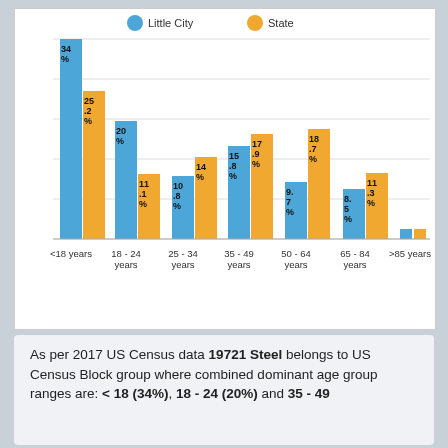[Figure (grouped-bar-chart): Age distribution]
As per 2017 US Census data 19721 Steel belongs to US Census Block group where combined dominant age group ranges are: < 18 (34%), 18 - 24 (20%) and 35 - 49